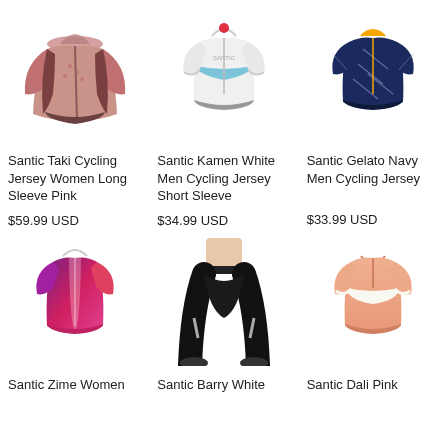[Figure (photo): Santic Taki Cycling Jersey Women Long Sleeve Pink - pink long sleeve cycling jacket]
Santic Taki Cycling Jersey Women Long Sleeve Pink
$59.99 USD
[Figure (photo): Santic Kamen White Men Cycling Jersey Short Sleeve - white short sleeve cycling jersey]
Santic Kamen White Men Cycling Jersey Short Sleeve
$34.99 USD
[Figure (photo): Santic Gelato Navy Men Cycling Jersey - navy blue short sleeve cycling jersey]
Santic Gelato Navy Men Cycling Jersey
$33.99 USD
[Figure (photo): Santic Zime Women cycling jersey - pink/purple gradient short sleeve jersey]
Santic Zime Women
[Figure (photo): Santic Barry White cycling tights - black compression cycling pants]
Santic Barry White
[Figure (photo): Santic Dali Pink cycling jersey - peach/salmon short sleeve jersey]
Santic Dali Pink